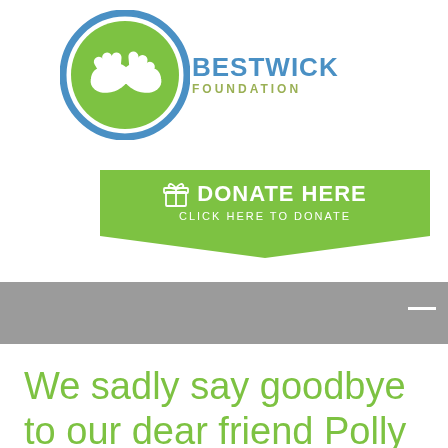[Figure (logo): Bestwick Foundation logo: circular green handshake icon with blue border, text BESTWICK in blue bold uppercase, FOUNDATION in olive/green smaller text]
[Figure (infographic): Green donate banner button with gift icon, text DONATE HERE in white bold uppercase, subtext CLICK HERE TO DONATE in white, banner has downward chevron/arrow shape at bottom]
We sadly say goodbye to our dear friend Polly Pollie